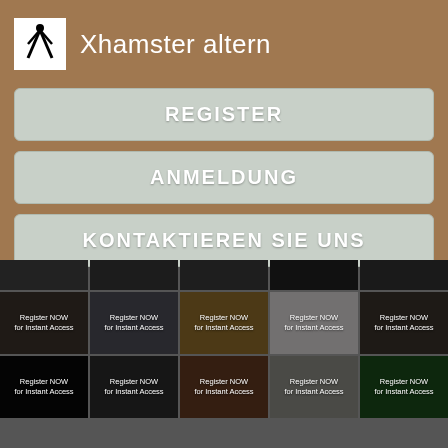[Figure (logo): App icon with white background showing a stylized black figure/character]
Xhamster altern
REGISTER
ANMELDUNG
KONTAKTIEREN SIE UNS
[Figure (screenshot): Grid of 15 thumbnail images (3 rows of 5) each overlaid with dark semi-transparent overlay and text 'Register NOW for Instant Access']